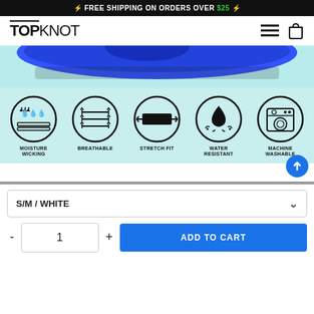⚡ FREE SHIPPING ON ORDERS OVER $25 ⚡
[Figure (logo): TOPKNOT brand logo in bold black uppercase letters with hamburger menu and shopping bag icons on the right]
[Figure (photo): Blue product (hair accessory) partially visible at top against light cyan/mint background]
[Figure (infographic): Five circular icons showing product features: Moisture Wicking, Breathable, Stretch Fit, Water Resistant, Machine Washable on cyan background]
S/M / WHITE
1
ADD TO CART